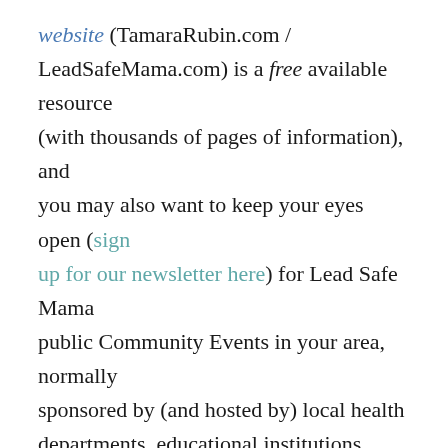website (TamaraRubin.com / LeadSafeMama.com) is a free available resource (with thousands of pages of information), and you may also want to keep your eyes open (sign up for our newsletter here) for Lead Safe Mama public Community Events in your area, normally sponsored by (and hosted by) local health departments, educational institutions, hospitals, etc. with participation for the public offered free of charge.
If you want to discuss the possibility of your local or health department (or hospital, or college) sponsoring a free public event, please be in